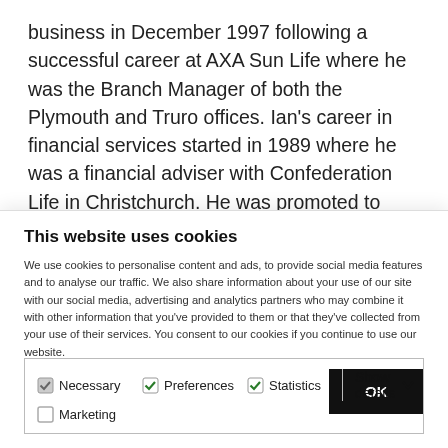business in December 1997 following a successful career at AXA Sun Life where he was the Branch Manager of both the Plymouth and Truro offices. Ian's career in financial services started in 1989 where he was a financial adviser with Confederation Life in Christchurch. He was promoted to Branch Manager of the Plymouth office of Confederation Life in 1992, before moving to AXA Sun Life. Ian is based in
This website uses cookies
We use cookies to personalise content and ads, to provide social media features and to analyse our traffic. We also share information about your use of our site with our social media, advertising and analytics partners who may combine it with other information that you've provided to them or that they've collected from your use of their services. You consent to our cookies if you continue to use our website.
OK
Necessary   Preferences   Statistics   Show details
Marketing